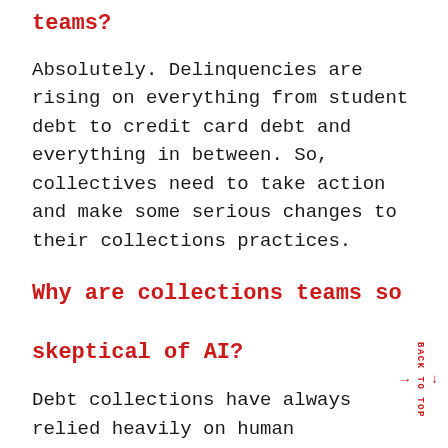teams?
Absolutely. Delinquencies are rising on everything from student debt to credit card debt and everything in between. So, collectives need to take action and make some serious changes to their collections practices.
Why are collections teams so skeptical of AI?
Debt collections have always relied heavily on human interaction. However, most experts agree more generally that the shift in dynamics brought on by AI is going to be more about job